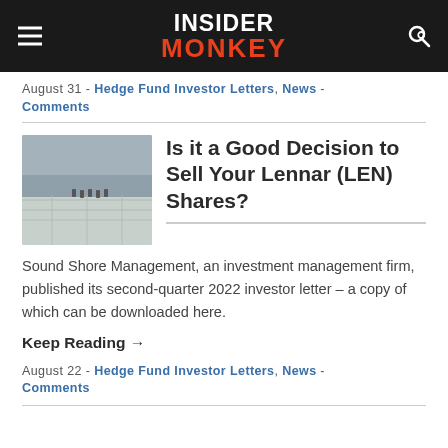INSIDER MONKEY
August 31 - Hedge Fund Investor Letters, News - Comments
[Figure (photo): Aerial view of a construction site with workers]
Is it a Good Decision to Sell Your Lennar (LEN) Shares?
Sound Shore Management, an investment management firm, published its second-quarter 2022 investor letter – a copy of which can be downloaded here.
Keep Reading →
August 22 - Hedge Fund Investor Letters, News - Comments